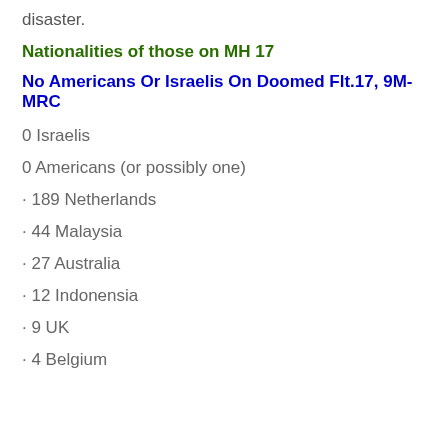disaster.
Nationalities of those on MH 17
No Americans Or Israelis On Doomed Flt.17, 9M-MRC
0 Israelis
0 Americans (or possibly one)
· 189 Netherlands
· 44 Malaysia
· 27 Australia
· 12 Indonensia
· 9 UK
· 4 Belgium